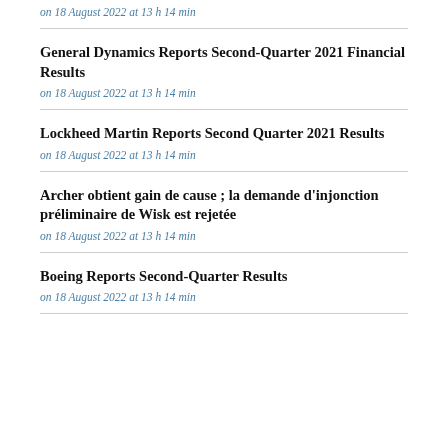on 18 August 2022 at 13 h 14 min
General Dynamics Reports Second-Quarter 2021 Financial Results
on 18 August 2022 at 13 h 14 min
Lockheed Martin Reports Second Quarter 2021 Results
on 18 August 2022 at 13 h 14 min
Archer obtient gain de cause ; la demande d'injonction préliminaire de Wisk est rejetée
on 18 August 2022 at 13 h 14 min
Boeing Reports Second-Quarter Results
on 18 August 2022 at 13 h 14 min